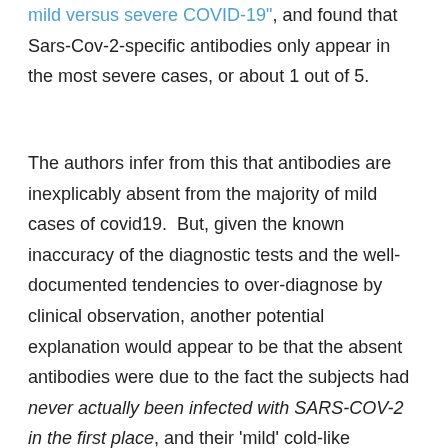mild versus severe COVID-19", and found that Sars-Cov-2-specific antibodies only appear in the most severe cases, or about 1 out of 5.
The authors infer from this that antibodies are inexplicably absent from the majority of mild cases of covid19. But, given the known inaccuracy of the diagnostic tests and the well-documented tendencies to over-diagnose by clinical observation, another potential explanation would appear to be that the absent antibodies were due to the fact the subjects had never actually been infected with SARS-COV-2 in the first place, and their 'mild' cold-like symptoms were due to some other pathogen, like...the common cold.